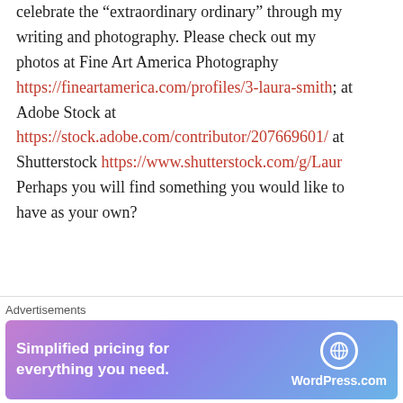celebrate the “extraordinary ordinary” through my writing and photography. Please check out my photos at Fine Art America Photography https://fineartamerica.com/profiles/3-laura-smith; at Adobe Stock at https://stock.adobe.com/contributor/207669601/ at Shutterstock https://www.shutterstock.com/g/Laur Perhaps you will find something you would like to have as your own?
Advertisements
[Figure (other): Dark advertisement banner box with close button]
Advertisements
[Figure (other): WordPress.com advertisement banner with gradient background. Text: Simplified pricing for everything you need. WordPress.com logo on right.]